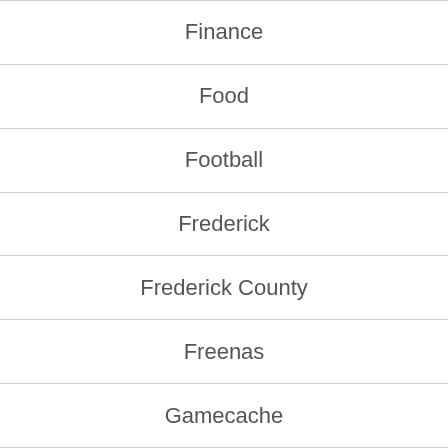Finance
Food
Football
Frederick
Frederick County
Freenas
Gamecache